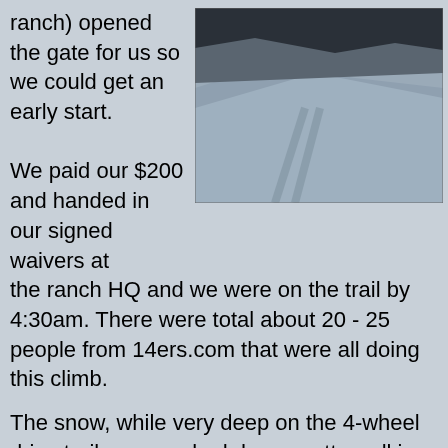ranch) opened the gate for us so we could get an early start.
[Figure (photo): A snow-covered road or trail with deep snow on either side, taken in low light or overcast conditions. Tire or snowmobile tracks are visible in the snow.]
We paid our $200 and handed in our signed waivers at the ranch HQ and we were on the trail by 4:30am. There were total about 20 - 25 people from 14ers.com that were all doing this climb.
The snow, while very deep on the 4-wheel drive trail, was packed down pretty well in the early morning cold, and from the snowmobile that Carlos had rode up and down this road numerous times. So, until we were 3.5 miles in and got to where this snowmobile trail ended is when the snowshoes first got put on.
While putting on my snowshoes, I had to take my heavy mitts off, and was just out in the cold with my glove liners. My hands went numb almost immediately. Here it was still only